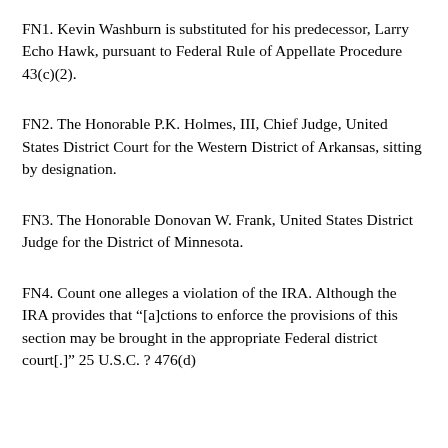FN1. Kevin Washburn is substituted for his predecessor, Larry Echo Hawk, pursuant to Federal Rule of Appellate Procedure 43(c)(2).
FN2. The Honorable P.K. Holmes, III, Chief Judge, United States District Court for the Western District of Arkansas, sitting by designation.
FN3. The Honorable Donovan W. Frank, United States District Judge for the District of Minnesota.
FN4. Count one alleges a violation of the IRA. Although the IRA provides that “[a]ctions to enforce the provisions of this section may be brought in the appropriate Federal district court[.]" 25 U.S.C. ? 476(d)